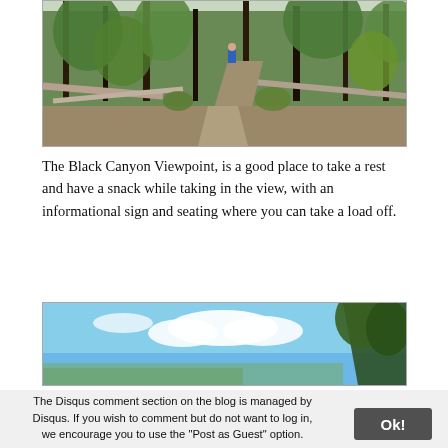[Figure (photo): A forest trail scene with fallen logs, pine trees, and a person in blue jacket visible in the distance on the path.]
The Black Canyon Viewpoint, is a good place to take a rest and have a snack while taking in the view, with an informational sign and seating where you can take a load off.
[Figure (photo): A panoramic view of blue sky with white clouds and pine tree tops visible on the right side.]
The Disqus comment section on the blog is managed by Disqus. If you wish to comment but do not want to log in, we encourage you to use the "Post as Guest" option.